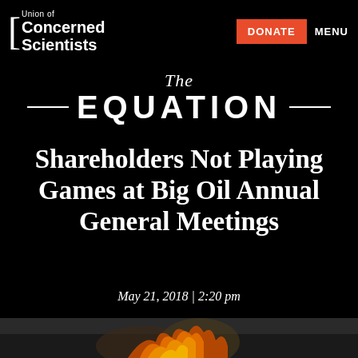Union of Concerned Scientists | DONATE | MENU
The EQUATION
Shareholders Not Playing Games at Big Oil Annual General Meetings
May 21, 2018 | 2:20 pm
[Figure (photo): Fire/flame image at bottom of page]